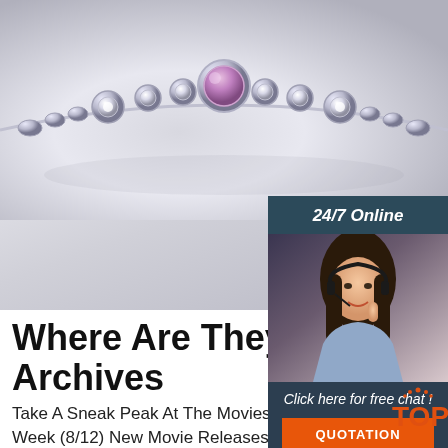[Figure (photo): Close-up photograph of a silver jewelry necklace with a central purple/amethyst round gemstone surrounded by smaller diamond-like stones on a light grey background]
[Figure (photo): Advertisement banner showing a smiling woman with a headset, with text '24/7 Online', 'Click here for free chat!', and an orange 'QUOTATION' button on a dark navy background]
Where Are They Now? Archives
Take A Sneak Peak At The Movies Coming Out This Week (8/12) New Movie Releases This Weekend. October 8-10; New Movie Trailers We're Excited About...